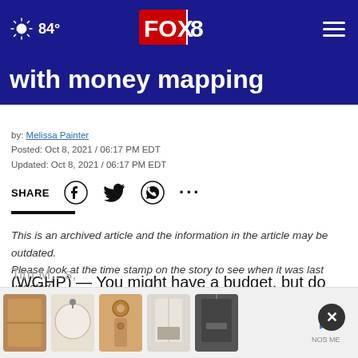FOX 8 — 84°
with money mapping
by: Melissa Painter
Posted: Oct 8, 2021 / 06:17 PM EDT
Updated: Oct 8, 2021 / 06:17 PM EDT
SHARE
This is an archived article and the information in the article may be outdated. Please look at the time stamp on the story to see when it was last updated.
(WGHP) — You might have a budget, but do you have a money map?
Tim M